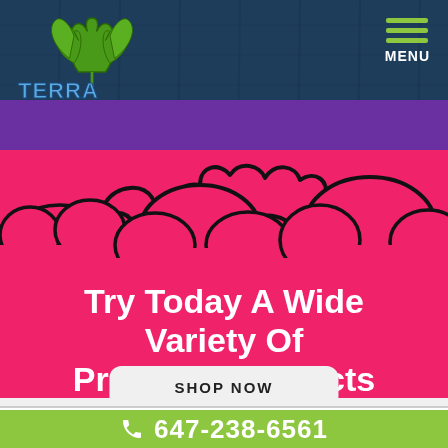[Figure (logo): Terra Tonic logo with cannabis leaf and stylized text on dark blue background with wooden plank texture]
[Figure (illustration): Hot pink cartoon clouds with black outlines on purple/pink background]
Try Today A Wide Variety Of Premium Products
SHOP NOW
647-238-6561